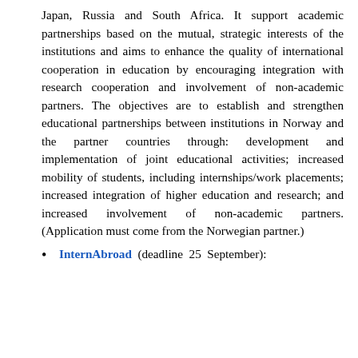Japan, Russia and South Africa. It support academic partnerships based on the mutual, strategic interests of the institutions and aims to enhance the quality of international cooperation in education by encouraging integration with research cooperation and involvement of non-academic partners. The objectives are to establish and strengthen educational partnerships between institutions in Norway and the partner countries through: development and implementation of joint educational activities; increased mobility of students, including internships/work placements; increased integration of higher education and research; and increased involvement of non-academic partners. (Application must come from the Norwegian partner.)
InternAbroad (deadline 25 September):